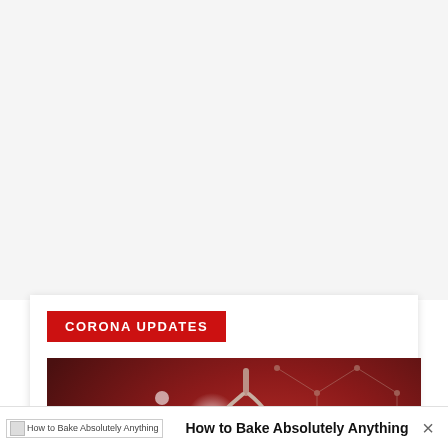[Figure (illustration): Red banner label reading CORONA UPDATES above a coronavirus-themed medical illustration showing lungs, molecular structures, ECG waveform, and coronavirus particle on a dark red/maroon gradient background with the word CORONAVIRUS at the bottom]
How to Bake Absolutely Anything